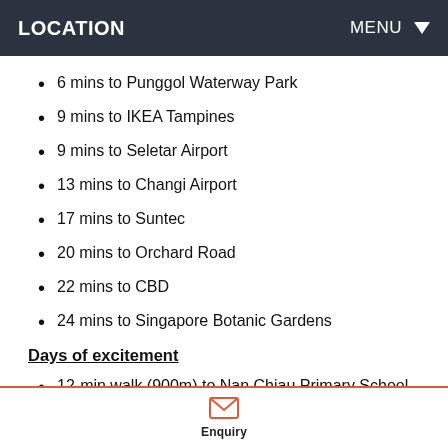LOCATION   MENU
6 mins to Punggol Waterway Park
9 mins to IKEA Tampines
9 mins to Seletar Airport
13 mins to Changi Airport
17 mins to Suntec
20 mins to Orchard Road
22 mins to CBD
24 mins to Singapore Botanic Gardens
Days of excitement
12-min walk (900m) to Nan Chiau Primary School
11-min walk (900m) to Sengkang Sports (Swim, Hockey)
10-min walk (800m) to Sengkang Community Club
Enquiry